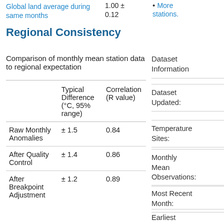Global land average during same months
1.00 ± 0.12
More stations.
Regional Consistency
Comparison of monthly mean station data to regional expectation
|  | Typical Difference (°C, 95% range) | Correlation (R value) |
| --- | --- | --- |
| Raw Monthly Anomalies | ± 1.5 | 0.84 |
| After Quality Control | ± 1.4 | 0.86 |
| After Breakpoint Adjustment | ± 1.2 | 0.89 |
Dataset Information
Dataset Updated:
Temperature Sites:
Monthly Mean Observations:
Most Recent Month:
Earliest Month: